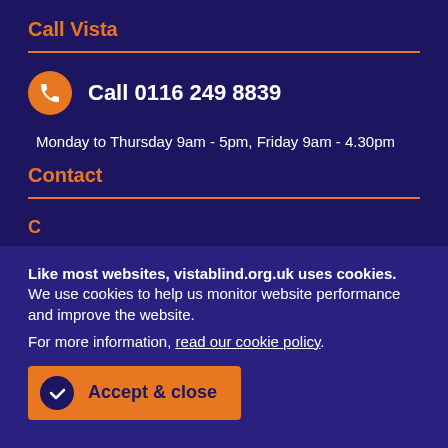Call Vista
Call 0116 249 8839
Monday to Thursday 9am - 5pm, Friday 9am - 4.30pm
Contact
Like most websites, vistablind.org.uk uses cookies. We use cookies to help us monitor website performance and improve the website.
For more information, read our cookie policy.
Accept & close